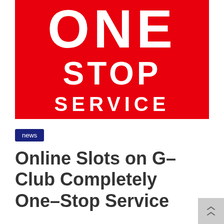[Figure (logo): Red background logo with white bold text reading ONE STOP SERVICE stacked vertically]
news
Online Slots on G-Club Completely One-Stop Service